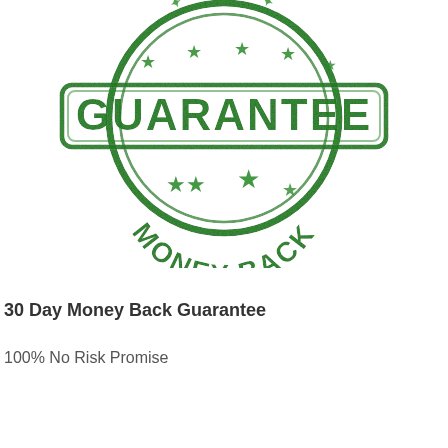[Figure (illustration): A green rubber stamp-style circular badge with the word GUARANTEE in a rectangular banner across the middle, and MONEY BACK curved along the bottom arc, with decorative stars around the interior. The stamp has a distressed/inked appearance in dark green.]
30 Day Money Back Guarantee
100% No Risk Promise